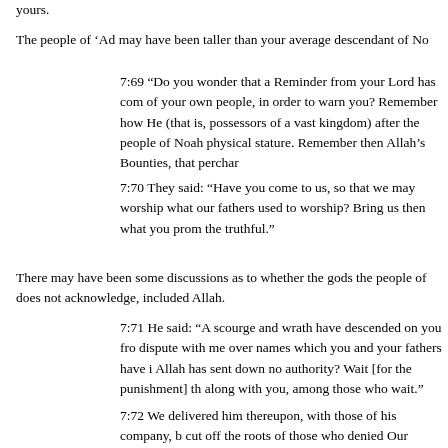yours.
The people of ‘Ad may have been taller than your average descendant of No
7:69 “Do you wonder that a Reminder from your Lord has com of your own people, in order to warn you? Remember how He (that is, possessors of a vast kingdom) after the people of Noah physical stature. Remember then Allah’s Bounties, that perchar
7:70 They said: “Have you come to us, so that we may worship what our fathers used to worship? Bring us then what you prom the truthful.”
There may have been some discussions as to whether the gods the people of does not acknowledge, included Allah.
7:71 He said: “A scourge and wrath have descended on you fro dispute with me over names which you and your fathers have i Allah has sent down no authority? Wait [for the punishment] th along with you, among those who wait.”
7:72 We delivered him thereupon, with those of his company, b cut off the roots of those who denied Our Revelations and were
Hud II
In the second account, Hud not only insists that the people of ‘Ad worship o